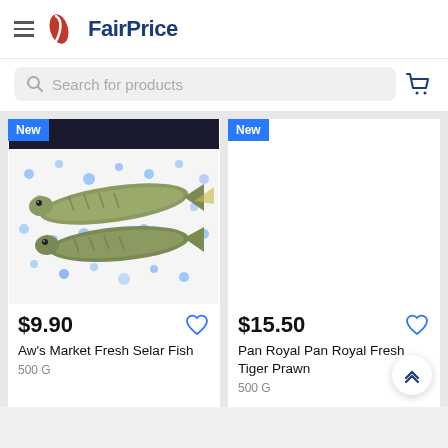FairPrice
Search for products
[Figure (photo): Product card showing two fresh selar fish on white background with blue dots. Price: $9.90. Product name: Aw's Market Fresh Selar Fish, 500 G. New badge top-left.]
[Figure (photo): Product card with New badge, price $15.50. Product: Pan Royal Pan Royal Fresh Tiger Prawn, 500 G. Image area blank/white.]